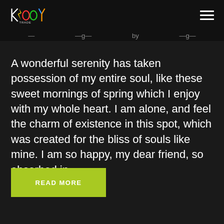KOOY TRADE logo and hamburger menu
A wonderful serenity has taken possession of my entire soul, like these sweet mornings of spring which I enjoy with my whole heart. I am alone, and feel the charm of existence in this spot, which was created for the bliss of souls like mine. I am so happy, my dear friend, so absorbed in…
READ MORE